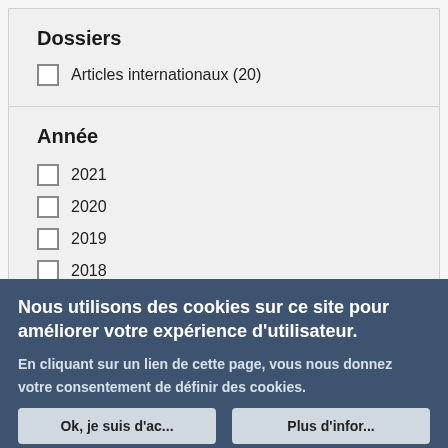Dossiers
Articles internationaux (20)
Année
2021
2020
2019
2018
2017
2016
Nous utilisons des cookies sur ce site pour améliorer votre expérience d'utilisateur.
En cliquant sur un lien de cette page, vous nous donnez votre consentement de définir des cookies.